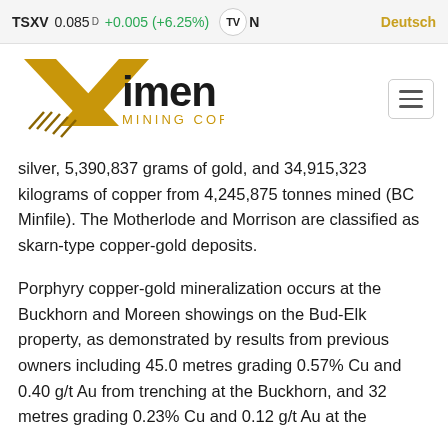TSXV 0.085 D +0.005 (+6.25%) TV N Deutsch
[Figure (logo): Ximen Mining Corp. logo with golden X and diagonal lines, gold and black text]
silver, 5,390,837 grams of gold, and 34,915,323 kilograms of copper from 4,245,875 tonnes mined (BC Minfile). The Motherlode and Morrison are classified as skarn-type copper-gold deposits.
Porphyry copper-gold mineralization occurs at the Buckhorn and Moreen showings on the Bud-Elk property, as demonstrated by results from previous owners including 45.0 metres grading 0.57% Cu and 0.40 g/t Au from trenching at the Buckhorn, and 32 metres grading 0.23% Cu and 0.12 g/t Au at the